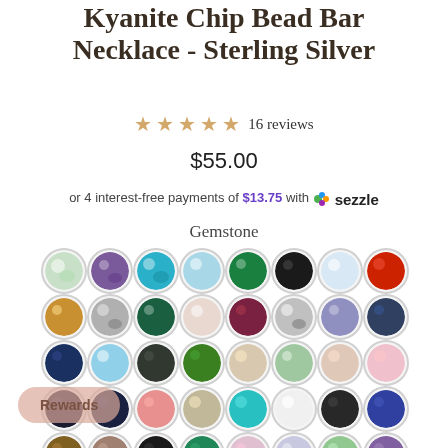Kyanite Chip Bead Bar Necklace - Sterling Silver
★★★★★ 16 reviews
$55.00
or 4 interest-free payments of $13.75 with Sezzle
Gemstone
[Figure (other): Grid of gemstone color swatches shown as circular bead samples in various colors and patterns]
Rewards